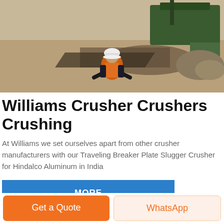[Figure (photo): Aerial/ground-level photo of a construction/mining site with a worker in orange vest and white hard hat, heavy green machinery in background, sandy terrain.]
Williams Crusher Crushers Crushing
At Williams we set ourselves apart from other crusher manufacturers with our Traveling Breaker Plate Slugger Crusher for Hindalco Aluminum in India
MORE
[Figure (photo): Interior photo of an industrial building/warehouse with SBM branded blue banners and steel roof structure.]
Get a Quote
WhatsApp